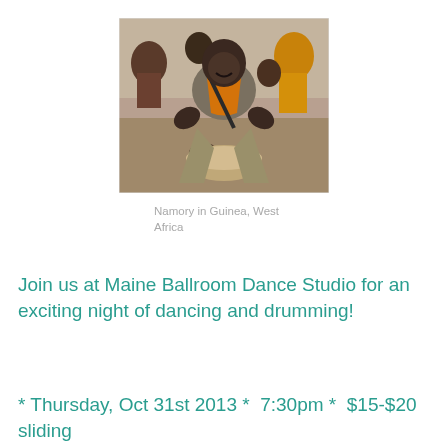[Figure (photo): A man playing a djembe drum outdoors, crouching over the drum with people visible in the background. He wears a grey shirt with orange accents and a dark strap across his chest.]
Namory in Guinea, West Africa
Join us at Maine Ballroom Dance Studio for an exciting night of dancing and drumming!
* Thursday, Oct 31st 2013 *  7:30pm *  $15-$20 sliding